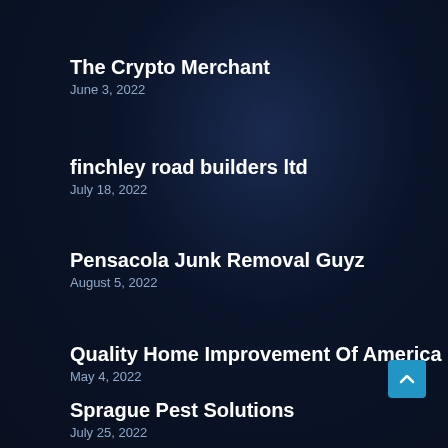The Crypto Merchant
June 3, 2022
finchley road builders ltd
July 18, 2022
Pensacola Junk Removal Guyz
August 5, 2022
Quality Home Improvement Of America
May 4, 2022
Sprague Pest Solutions
July 25, 2022